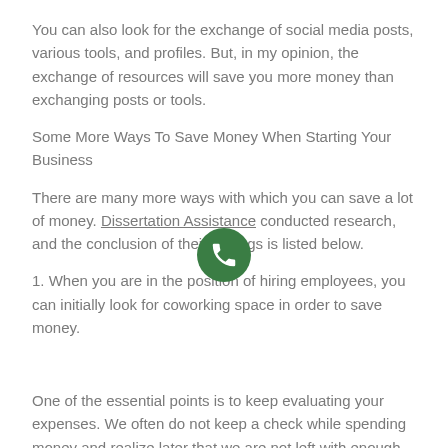You can also look for the exchange of social media posts, various tools, and profiles. But, in my opinion, the exchange of resources will save you more money than exchanging posts or tools.
Some More Ways To Save Money When Starting Your Business
There are many more ways with which you can save a lot of money. Dissertation Assistance conducted research, and the conclusion of their findings is listed below.
1. When you are in the position of hiring employees, you can initially look for coworking space in order to save money.
[Figure (illustration): Green circular WhatsApp-style phone icon button overlaid on the text.]
One of the essential points is to keep evaluating your expenses. We often do not keep a check while spending money and realize later that we are not left with enough money.